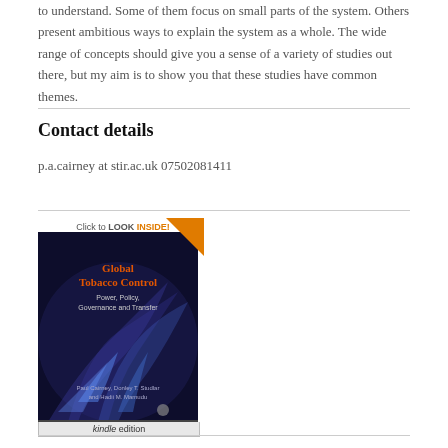to understand. Some of them focus on small parts of the system. Others present ambitious ways to explain the system as a whole. The wide range of concepts should give you a sense of a variety of studies out there, but my aim is to show you that these studies have common themes.
Contact details
p.a.cairney at stir.ac.uk 07502081411
[Figure (photo): Book cover for 'Global Tobacco Control: Power, Policy, Governance and Transfer' with a 'Click to LOOK INSIDE!' badge and a Kindle edition label at the bottom.]